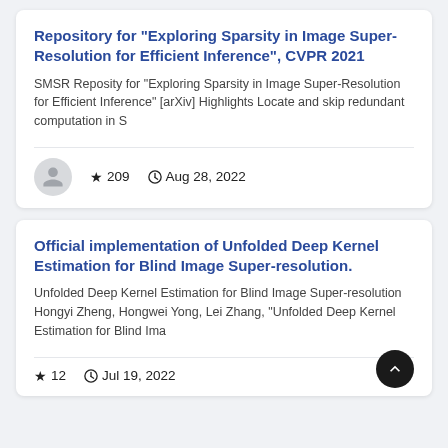Repository for "Exploring Sparsity in Image Super-Resolution for Efficient Inference", CVPR 2021
SMSR Reposity for "Exploring Sparsity in Image Super-Resolution for Efficient Inference" [arXiv] Highlights Locate and skip redundant computation in S
★ 209   🕐 Aug 28, 2022
Official implementation of Unfolded Deep Kernel Estimation for Blind Image Super-resolution.
Unfolded Deep Kernel Estimation for Blind Image Super-resolution Hongyi Zheng, Hongwei Yong, Lei Zhang, "Unfolded Deep Kernel Estimation for Blind Ima
★ 12   🕐 Jul 19, 2022